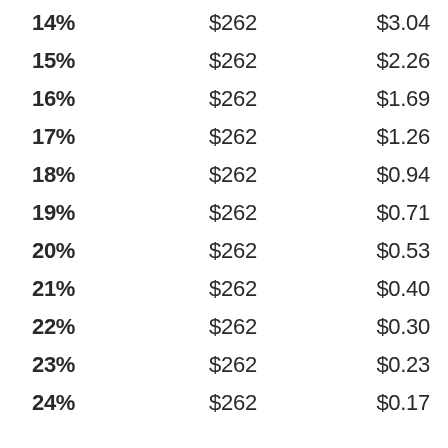| 14% | $262 | $3.04 |
| 15% | $262 | $2.26 |
| 16% | $262 | $1.69 |
| 17% | $262 | $1.26 |
| 18% | $262 | $0.94 |
| 19% | $262 | $0.71 |
| 20% | $262 | $0.53 |
| 21% | $262 | $0.40 |
| 22% | $262 | $0.30 |
| 23% | $262 | $0.23 |
| 24% | $262 | $0.17 |